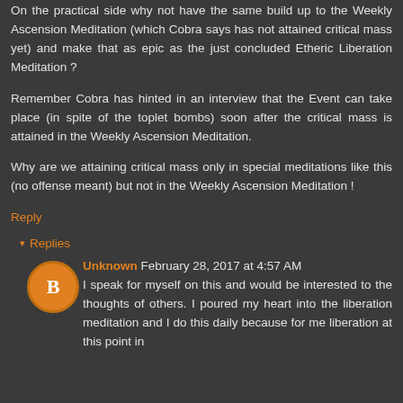On the practical side why not have the same build up to the Weekly Ascension Meditation (which Cobra says has not attained critical mass yet) and make that as epic as the just concluded Etheric Liberation Meditation ?
Remember Cobra has hinted in an interview that the Event can take place (in spite of the toplet bombs) soon after the critical mass is attained in the Weekly Ascension Meditation.
Why are we attaining critical mass only in special meditations like this (no offense meant) but not in the Weekly Ascension Meditation !
Reply
▾ Replies
Unknown February 28, 2017 at 4:57 AM
I speak for myself on this and would be interested to the thoughts of others. I poured my heart into the liberation meditation and I do this daily because for me liberation at this point in